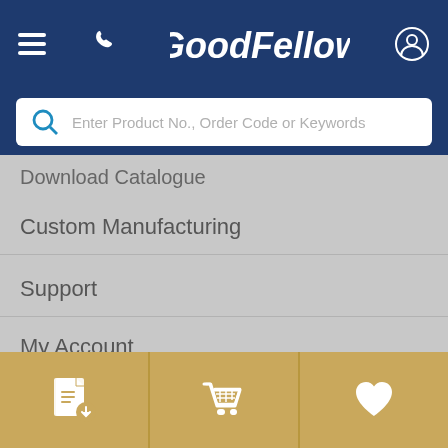[Figure (screenshot): Goodfellow website mobile navigation header with hamburger menu, phone icon, Goodfellow logo (italic bold white text), and user account icon on dark blue background]
[Figure (screenshot): Search bar with magnifying glass icon and placeholder text: Enter Product No., Order Code or Keywords]
Download Catalogue
Custom Manufacturing
Support
My Account
Contact Us
Goodfellow
〒 105-0003
[Figure (screenshot): Bottom toolbar with three golden/tan buttons: PDF download icon, shopping cart icon, and heart/favorites icon]